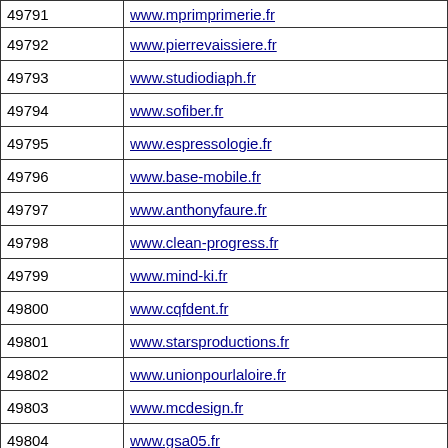| ID | URL |
| --- | --- |
| 49792 | www.pierrevaissiere.fr |
| 49793 | www.studiodiaph.fr |
| 49794 | www.sofiber.fr |
| 49795 | www.espressologie.fr |
| 49796 | www.base-mobile.fr |
| 49797 | www.anthonyfaure.fr |
| 49798 | www.clean-progress.fr |
| 49799 | www.mind-ki.fr |
| 49800 | www.cqfdent.fr |
| 49801 | www.starsproductions.fr |
| 49802 | www.unionpourlaloire.fr |
| 49803 | www.mcdesign.fr |
| 49804 | www.gsa05.fr |
| 49805 | www.pascaldemol.fr |
| 49806 | www.gsen.fr |